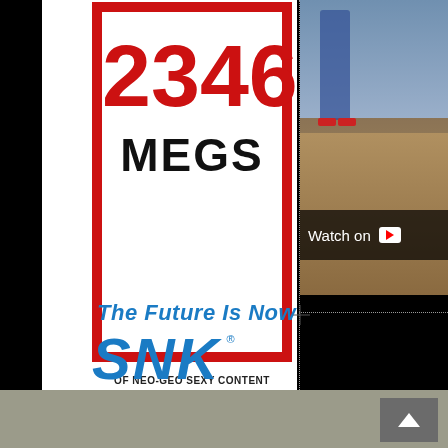[Figure (logo): SNK Neo-Geo logo badge: red bordered box containing red '2346' number and black 'MEGS' text, with 'OF NEO-GEO SEXY CONTENT' below, and 'The Future Is Now SNK®' logotype below that]
[Figure (screenshot): YouTube video thumbnail showing a person in jeans and red shoes outdoors, with 'Watch on' text and YouTube play button icon overlaid]